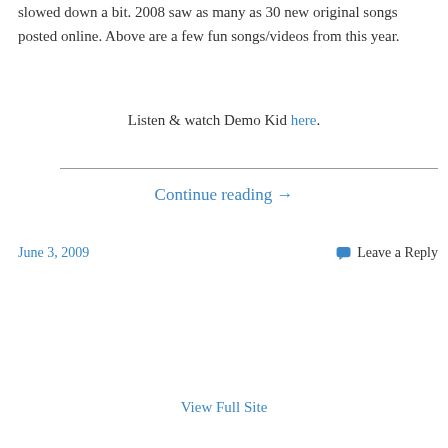slowed down a bit. 2008 saw as many as 30 new original songs posted online. Above are a few fun songs/videos from this year.
Listen & watch Demo Kid here.
Continue reading →
June 3, 2009
Leave a Reply
View Full Site